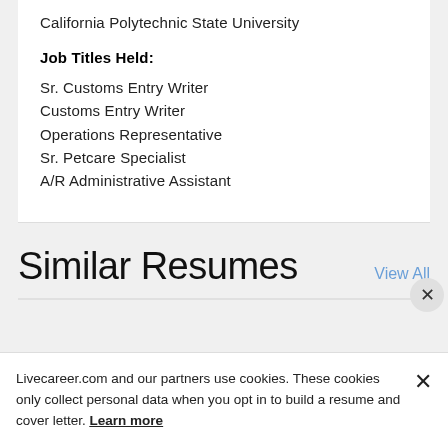California Polytechnic State University
Job Titles Held:
Sr. Customs Entry Writer
Customs Entry Writer
Operations Representative
Sr. Petcare Specialist
A/R Administrative Assistant
Similar Resumes
View All
Livecareer.com and our partners use cookies. These cookies only collect personal data when you opt in to build a resume and cover letter. Learn more